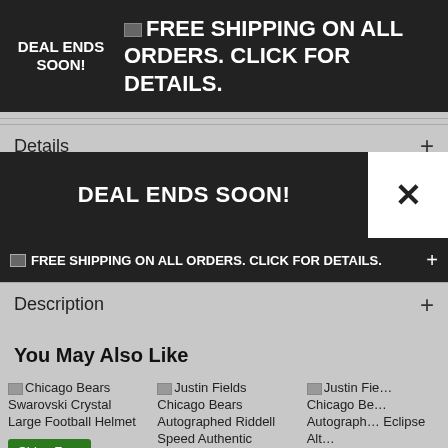DEAL ENDS SOON! FREE SHIPPING ON ALL ORDERS. CLICK FOR DETAILS.
Details +
DEAL ENDS SOON!
FREE SHIPPING ON ALL ORDERS. CLICK FOR DETAILS.
Description +
You May Also Like
Chicago Bears Swarovski Crystal Large Football Helmet
Justin Fields Chicago Bears Autographed Riddell Speed Authentic
Justin Fields Chicago Bears Autographed Eclipse Alt Helmet
Almost Gone!
Almost Gone!
Ships Free
Ships Free
Ships Free